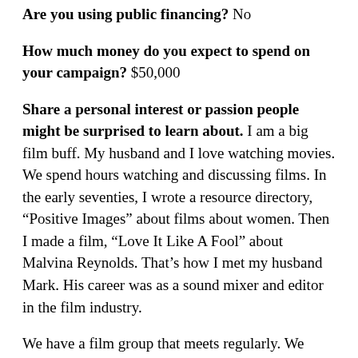Are you using public financing? No
How much money do you expect to spend on your campaign? $50,000
Share a personal interest or passion people might be surprised to learn about. I am a big film buff. My husband and I love watching movies. We spend hours watching and discussing films. In the early seventies, I wrote a resource directory, “Positive Images” about films about women. Then I made a film, “Love It Like A Fool” about Malvina Reynolds. That’s how I met my husband Mark. His career was as a sound mixer and editor in the film industry.
We have a film group that meets regularly. We watch all kinds of movies and always have terrific discussions, even if the films are not...